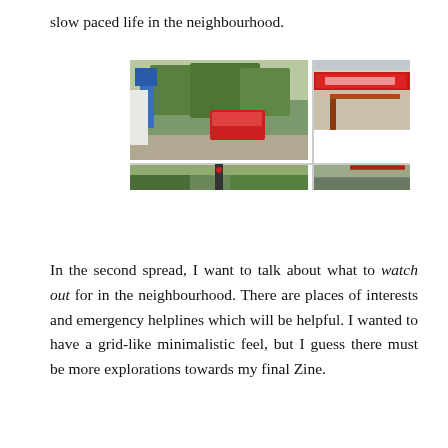slow paced life in the neighbourhood.
[Figure (photo): A collage of four photographs showing neighbourhood scenes: a bus stop and street with trees and red buses, a fire station or government building with a red sign, and two lower strip photos showing a traffic light and street vegetation.]
In the second spread, I want to talk about what to watch out for in the neighbourhood. There are places of interests and emergency helplines which will be helpful. I wanted to have a grid-like minimalistic feel, but I guess there must be more explorations towards my final Zine.